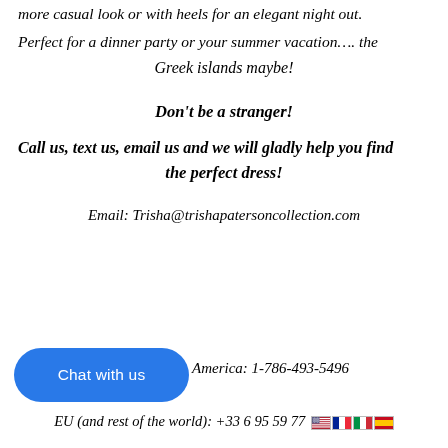more casual look or with heels for an elegant night out.
Perfect for a dinner party or your summer vacation…. the Greek islands maybe!
Don't be a stranger!
Call us, text us, email us and we will gladly help you find the perfect dress!
Email:  Trisha@trishapatersoncollection.com
[Figure (other): Blue rounded chat button with text 'Chat with us']
America:  1-786-493-5496
EU (and rest of the world):  +33 6 95 59 77 [flags: US, FR, IT, ES]